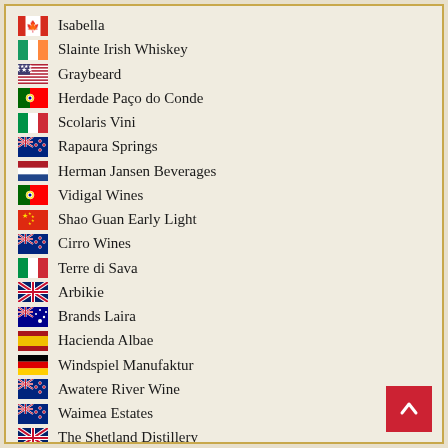Isabella
Slainte Irish Whiskey
Graybeard
Herdade Paço do Conde
Scolaris Vini
Rapaura Springs
Herman Jansen Beverages
Vidigal Wines
Shao Guan Early Light
Cirro Wines
Terre di Sava
Arbikie
Brands Laira
Hacienda Albae
Windspiel Manufaktur
Awatere River Wine
Waimea Estates
The Shetland Distillery
GreatDrams
Idyll Wine